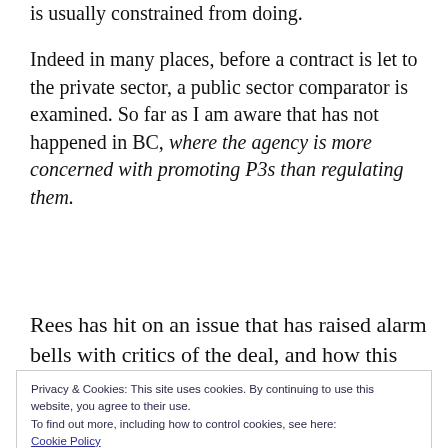is usually constrained from doing.
Indeed in many places, before a contract is let to the private sector, a public sector comparator is examined. So far as I am aware that has not happened in BC, where the agency is more concerned with promoting P3s than regulating them.
Rees has hit on an issue that has raised alarm bells with critics of the deal, and how this project
Privacy & Cookies: This site uses cookies. By continuing to use this website, you agree to their use.
To find out more, including how to control cookies, see here:
Cookie Policy
regarded as anything more than an end to